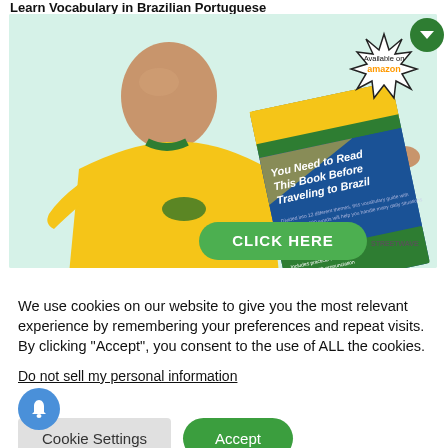Learn Vocabulary in Brazilian Portuguese
[Figure (photo): Advertisement banner showing a bald man in a yellow Brazil soccer jersey gesturing toward a book cover titled 'You Need to Read This Book Before Traveling to Brazil' with an 'Available on amazon' starburst badge and a green 'CLICK HERE' button. Background is light mint green.]
We use cookies on our website to give you the most relevant experience by remembering your preferences and repeat visits. By clicking "Accept", you consent to the use of ALL the cookies.
Do not sell my personal information.